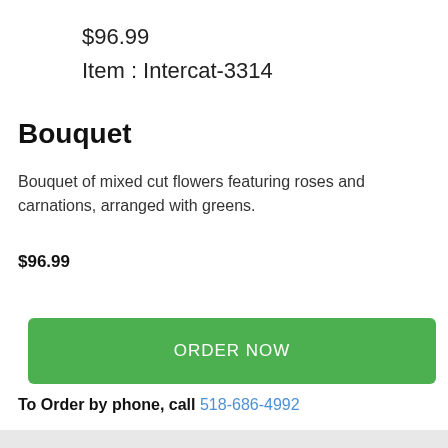$96.99
Item : Intercat-3314
Bouquet
Bouquet of mixed cut flowers featuring roses and carnations, arranged with greens.
$96.99
ORDER NOW
To Order by phone, call 518-686-4992